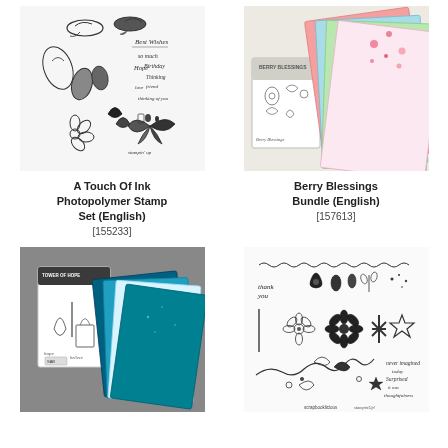[Figure (photo): A Touch Of Ink Photopolymer Stamp Set product image showing various floral, bird, and butterfly stamps with script text stamps]
[Figure (photo): Berry Blessings Bundle product image showing stamp set booklet and colorful patterned paper sheets with floral designs]
A Touch Of Ink Photopolymer Stamp Set (English)
[155233]
Berry Blessings Bundle (English)
[157613]
[Figure (photo): Tower of Hope stamp set bundle with teal glittery paper and stamp set booklet on grey background]
[Figure (photo): Bloom stamp set showing various flower, leaf, and botanical stamps with script text elements]